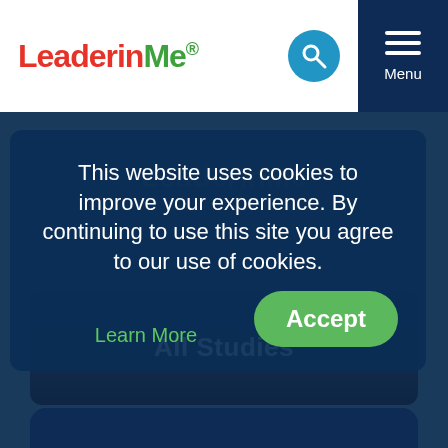[Figure (logo): LeaderInMe logo with red and green text]
This website uses cookies to improve your experience. By continuing to use this site you agree to our use of cookies. Learn More
Accept
[Figure (photo): Students sitting on steps with laptops and bags, labeled All Studies]
All Studies